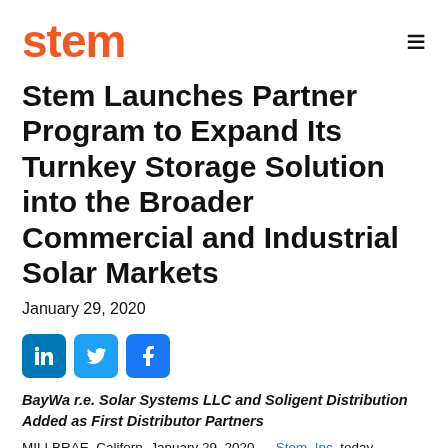stem
Stem Launches Partner Program to Expand Its Turnkey Storage Solution into the Broader Commercial and Industrial Solar Markets
January 29, 2020
[Figure (infographic): Social media share icons: LinkedIn, Twitter, Facebook]
BayWa r.e. Solar Systems LLC and Soligent Distribution Added as First Distributor Partners
MILLBRAE, California, January 29, 2020 — Stem, Inc. today launched the...